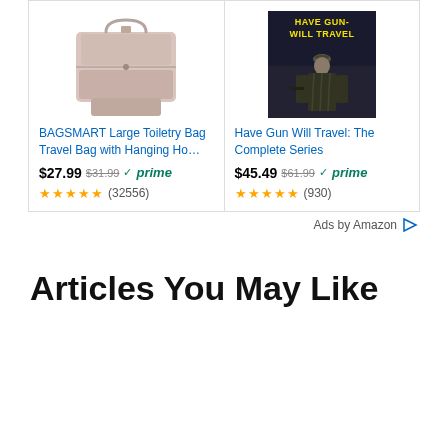[Figure (screenshot): Amazon ad card for BAGSMART Large Toiletry Bag - shows product image of pink toiletry bag with hanging hook, price $27.99 (was $31.99) with Prime badge, 4.5 stars (32556 reviews)]
[Figure (screenshot): Amazon ad card for Have Gun Will Travel: The Complete Series - shows dark TV show cover, price $45.49 (was $61.99) with Prime badge, 4.5 stars (930 reviews)]
Ads by Amazon
Articles You May Like